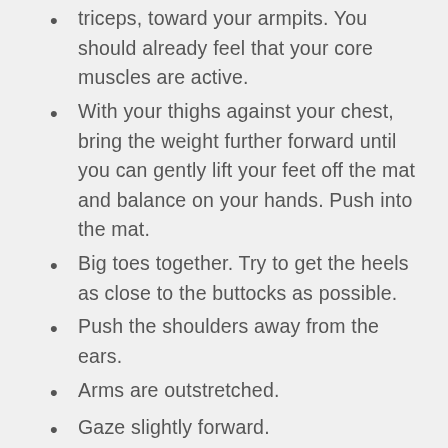triceps, toward your armpits. You should already feel that your core muscles are active.
With your thighs against your chest, bring the weight further forward until you can gently lift your feet off the mat and balance on your hands. Push into the mat.
Big toes together. Try to get the heels as close to the buttocks as possible.
Push the shoulders away from the ears.
Arms are outstretched.
Gaze slightly forward.
BREATH
Inhale: make length between the shoulders and the wrists & between the shoulder blades.